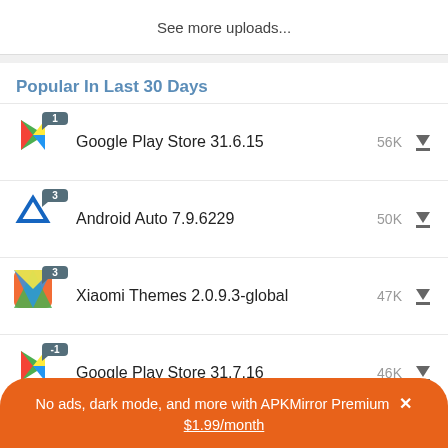See more uploads...
Popular In Last 30 Days
Google Play Store 31.6.15  56K
Android Auto 7.9.6229  50K
Xiaomi Themes 2.0.9.3-global  47K
Google Play Store 31.7.16  46K
No ads, dark mode, and more with APKMirror Premium × $1.99/month